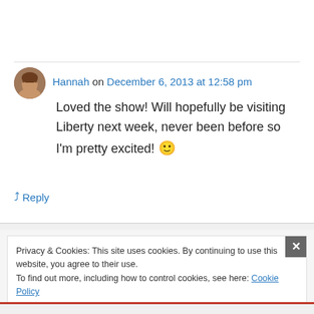[Figure (photo): Circular avatar photo of a woman with brown hair]
Hannah on December 6, 2013 at 12:58 pm
Loved the show! Will hopefully be visiting Liberty next week, never been before so I'm pretty excited! 🙂
↳ Reply
Privacy & Cookies: This site uses cookies. By continuing to use this website, you agree to their use.
To find out more, including how to control cookies, see here: Cookie Policy
Close and accept